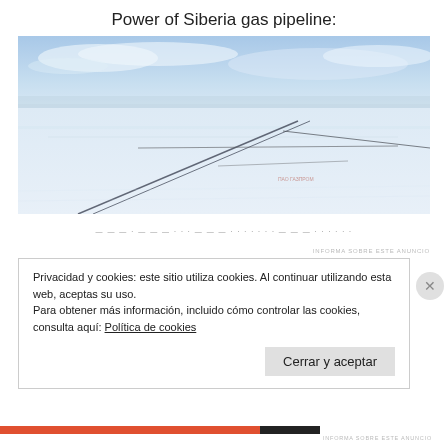Power of Siberia gas pipeline:
[Figure (photo): Aerial photograph of a snowy Siberian landscape with a gas pipeline route visible as dark lines crossing snow-covered flat terrain under a blue sky with clouds.]
— — — · — — — · · · — — — · · · · · · · — — — · · · · · ·
INFORMA SOBRE ESTE ANUNCIO
Privacidad y cookies: este sitio utiliza cookies. Al continuar utilizando esta web, aceptas su uso.
Para obtener más información, incluido cómo controlar las cookies, consulta aquí: Política de cookies
Cerrar y aceptar
INFORMA SOBRE ESTE ANUNCIO